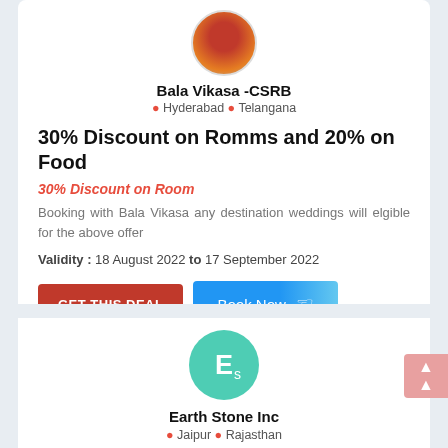[Figure (photo): Circular avatar image with food/dish for Bala Vikasa -CSRB]
Bala Vikasa -CSRB
📍 Hyderabad 📍 Telangana
30% Discount on Romms and 20% on Food
30% Discount on Room
Booking with Bala Vikasa any destination weddings will elgible for the above offer
Validity : 18 August 2022 to 17 September 2022
GET THIS DEAL   Book Now
[Figure (logo): Earth Stone Inc logo - teal circle with Es text]
Earth Stone Inc
📍 Jaipur 📍 Rajasthan